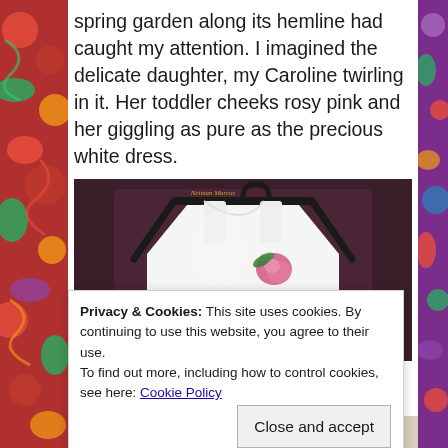spring garden along its hemline had caught my attention. I imagined the delicate daughter, my Caroline twirling in it. Her toddler cheeks rosy pink and her giggling as pure as the precious white dress.
[Figure (photo): A white toddler dress hanging on a black Neiman Marcus branded hanger against a dark brownish-purple background. The dress has a floral applique detail.]
Privacy & Cookies: This site uses cookies. By continuing to use this website, you agree to their use.
To find out more, including how to control cookies, see here: Cookie Policy